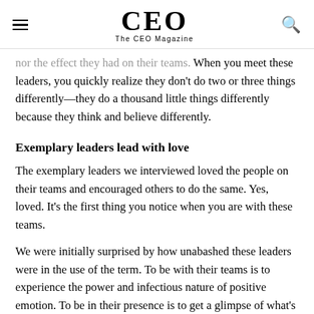CEO — The CEO Magazine
nor the effect they had on their teams. When you meet these leaders, you quickly realize they don't do two or three things differently—they do a thousand little things differently because they think and believe differently.
Exemplary leaders lead with love
The exemplary leaders we interviewed loved the people on their teams and encouraged others to do the same. Yes, loved. It's the first thing you notice when you are with these teams.
We were initially surprised by how unabashed these leaders were in the use of the term. To be with their teams is to experience the power and infectious nature of positive emotion. To be in their presence is to get a glimpse of what's